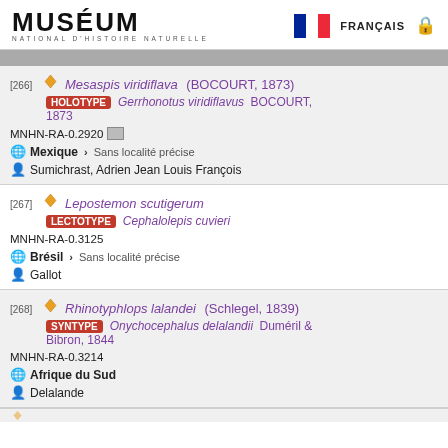MUSÉUM NATIONAL D'HISTOIRE NATURELLE — FRANÇAIS
[266] Mesaspis viridiflava (BOCOURT, 1873) HOLOTYPE Gerrhonotus viridiflavus BOCOURT, 1873 MNHN-RA-0.2920 Mexique > Sans localité précise Sumichrast, Adrien Jean Louis François
[267] Lepostemon scutigerum LECTOTYPE Cephalolepis cuvieri MNHN-RA-0.3125 Brésil > Sans localité précise Gallot
[268] Rhinotyphlops lalandei (Schlegel, 1839) SYNTYPE Onychocephalus delalandii Duméril & Bibron, 1844 MNHN-RA-0.3214 Afrique du Sud Delalande